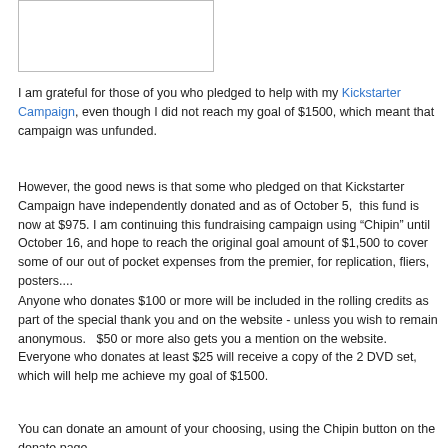[Figure (other): White rectangle with border, likely a placeholder image]
I am grateful for those of you who pledged to help with my Kickstarter Campaign, even though I did not reach my goal of $1500, which meant that campaign was unfunded.
However, the good news is that some who pledged on that Kickstarter Campaign have independently donated and as of October 5,  this fund is now at $975. I am continuing this fundraising campaign using “Chipin” until October 16, and hope to reach the original goal amount of $1,500 to cover some of our out of pocket expenses from the premier, for replication, fliers, posters....
Anyone who donates $100 or more will be included in the rolling credits as part of the special thank you and on the website - unless you wish to remain anonymous.   $50 or more also gets you a mention on the website.   Everyone who donates at least $25 will receive a copy of the 2 DVD set, which will help me achieve my goal of $1500.
You can donate an amount of your choosing, using the Chipin button on the donate page.